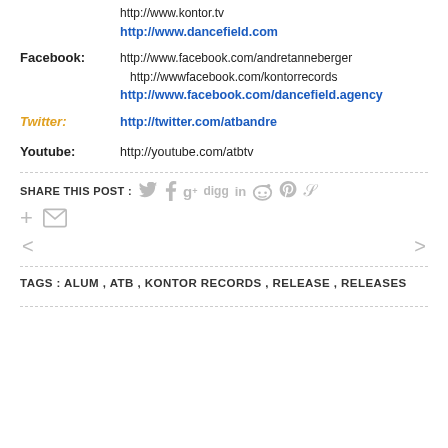http://www.kontor.tv
http://www.dancefield.com
Facebook:
http://www.facebook.com/andretanneberger
http://wwwfacebook.com/kontorrecords
http://www.facebook.com/dancefield.agency
Twitter:
http://twitter.com/atbandre
Youtube:
http://youtube.com/atbtv
SHARE THIS POST :
TAGS : ALUM , ATB , KONTOR RECORDS , RELEASE , RELEASES